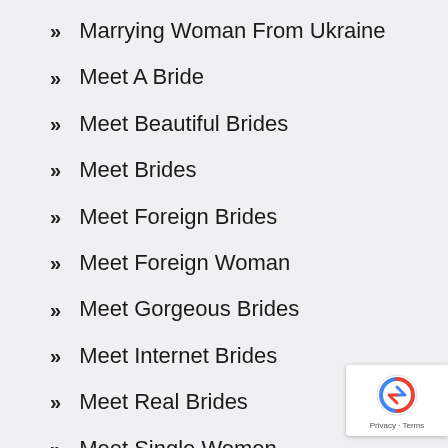Marrying Woman From Ukraine
Meet A Bride
Meet Beautiful Brides
Meet Brides
Meet Foreign Brides
Meet Foreign Woman
Meet Gorgeous Brides
Meet Internet Brides
Meet Real Brides
Meet Single Women
Meet Woman
Meetbot